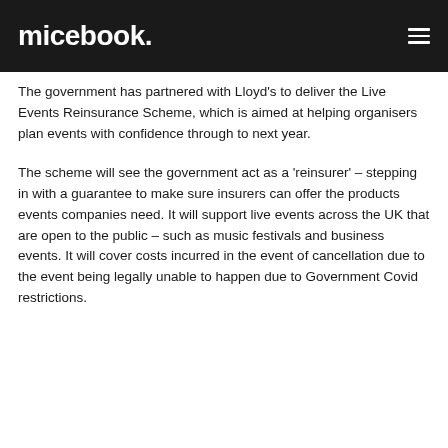micebook.
The government has partnered with Lloyd’s to deliver the Live Events Reinsurance Scheme, which is aimed at helping organisers plan events with confidence through to next year.
The scheme will see the government act as a ‘reinsurer’ – stepping in with a guarantee to make sure insurers can offer the products events companies need. It will support live events across the UK that are open to the public – such as music festivals and business events. It will cover costs incurred in the event of cancellation due to the event being legally unable to happen due to Government Covid restrictions.